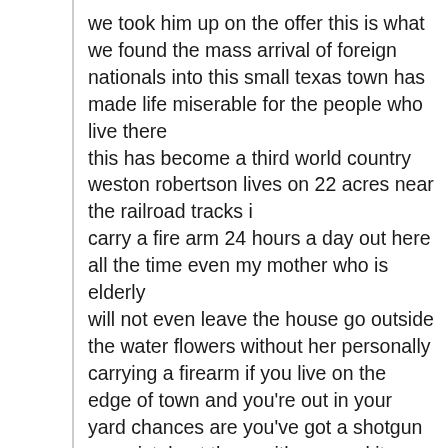we took him up on the offer this is what we found the mass arrival of foreign nationals into this small texas town has made life miserable for the people who live there this has become a third world country weston robertson lives on 22 acres near the railroad tracks i carry a fire arm 24 hours a day out here all the time even my mother who is elderly will not even leave the house go outside the water flowers without her personally carrying a firearm if you live on the edge of town and you're out in your yard chances are you've got a shotgun or a pistol out there with you and it shouldn't be that way but it is that way uvalde residents watch helplessly as central americans haitians even people from africa cross